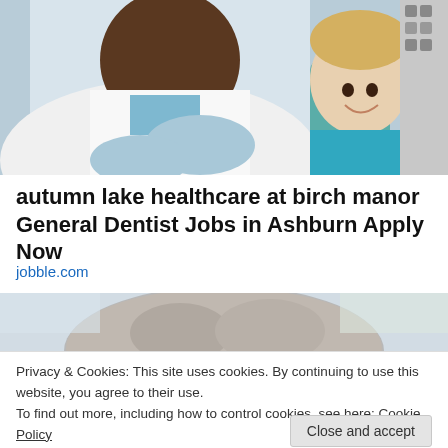[Figure (photo): A dentist in a white coat and blue gloves leaning over a dental chair, with a smiling young boy patient in a teal shirt sitting in the chair. Dental equipment visible in the background.]
autumn lake healthcare at birch manor General Dentist Jobs in Ashburn Apply Now
jobble.com
[Figure (photo): Partial photo showing the top of a person's head with gray hair against a blurred background.]
Privacy & Cookies: This site uses cookies. By continuing to use this website, you agree to their use.
To find out more, including how to control cookies, see here: Cookie Policy
Close and accept